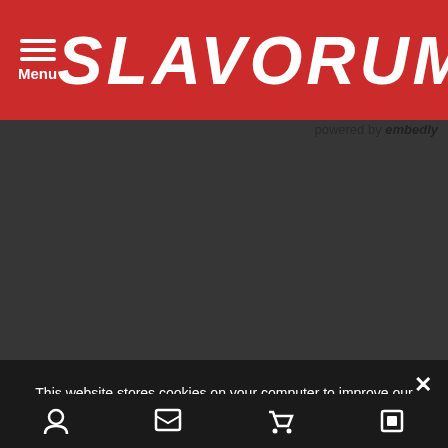SLAVORUM
powered by embedly
FACEBOOK
This website stores cookies on your computer to improve our website and provide personalized services to you. To find out more see our Privacy Policy.
Privacy Preferences
I Agree